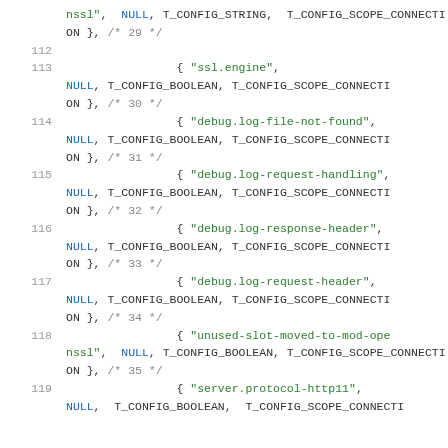Code listing showing C configuration array entries for SSL and debug configuration options, lines 112-119.